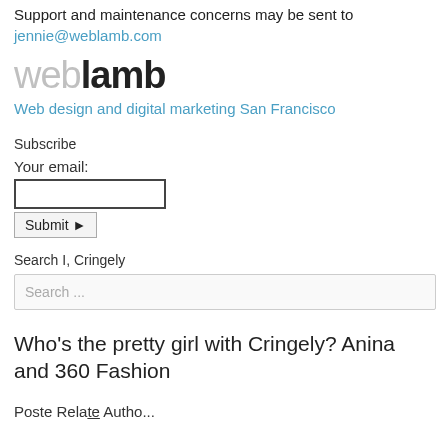Support and maintenance concerns may be sent to jennie@weblamb.com
[Figure (logo): weblamb logo — 'web' in light gray, 'lamb' in dark bold]
Web design and digital marketing San Francisco
Subscribe
Your email:
Submit ▶
Search I, Cringely
Search ...
Who's the pretty girl with Cringely? Anina and 360 Fashion
Poste Relate Autho...